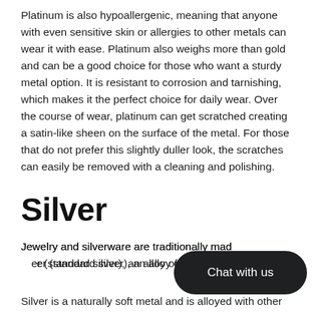Platinum is also hypoallergenic, meaning that anyone with even sensitive skin or allergies to other metals can wear it with ease. Platinum also weighs more than gold and can be a good choice for those who want a sturdy metal option. It is resistant to corrosion and tarnishing, which makes it the perfect choice for daily wear. Over the course of wear, platinum can get scratched creating a satin-like sheen on the surface of the metal. For those that do not prefer this slightly duller look, the scratches can easily be removed with a cleaning and polishing.
Silver
Jewelry and silverware are traditionally made of sterling silver (standard silver), an alloy of 92.5% silver w...
Silver is a naturally soft metal and is alloyed with other metals,